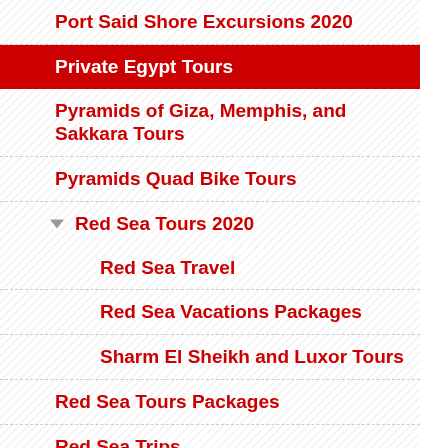Port Said Shore Excursions 2020
Private Egypt Tours
Pyramids of Giza, Memphis, and Sakkara Tours
Pyramids Quad Bike Tours
Red Sea Tours 2020
Red Sea Travel
Red Sea Vacations Packages
Sharm El Sheikh and Luxor Tours
Red Sea Tours Packages
Red Sea Trips
Red Sea Vacations
River Nile Cruises
Safaga Shore Excursions 2020
Safari Egypt